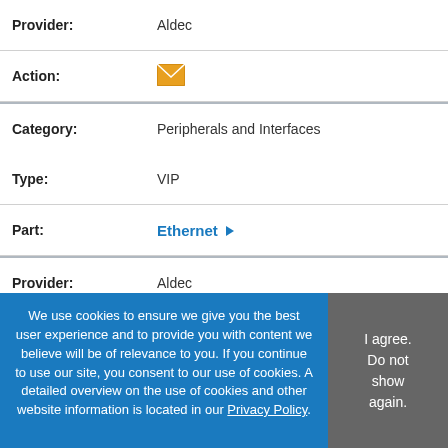| Provider: | Aldec |
| Action: | [email icon] |
| Category: | Peripherals and Interfaces |
| Type: | VIP |
| Part: | Ethernet ▶ |
| Provider: | Aldec |
| Action: | [email icon] |
| Category: | Peripherals and Interfaces |
| Type: | VIP |
| Part: | Ethernet Speed Adapter ▶ |
| Provider: | Aldec |
| Action: | [email icon] |
We use cookies to ensure we give you the best user experience and to provide you with content we believe will be of relevance to you. If you continue to use our site, you consent to our use of cookies. A detailed overview on the use of cookies and other website information is located in our Privacy Policy.
I agree. Do not show again.